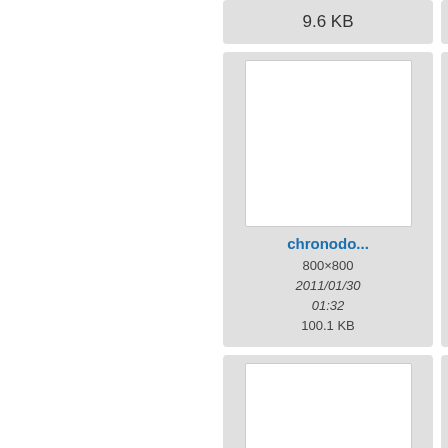9.6 KB
1.9 MB
[Figure (screenshot): File browser thumbnail grid showing chronodo and chronopi image entries with metadata]
chronodo...
800×800
2011/01/30
01:32
100.1 KB
[Figure (engineering-diagram): Circular clock/sensor PCB diagram labeled ChronoDot 3.0]
chronodo...
1454×1400
2022/08/12
17:47
402.9 KB
chronopi...
1200×1200
2017/07/18
20:56
650.9 KB
[Figure (photo): Photo of a small electronic PCB module with sensor on green circuit board]
chronopi...
1200×1200
2017/07/18
20:53
568.1 KB